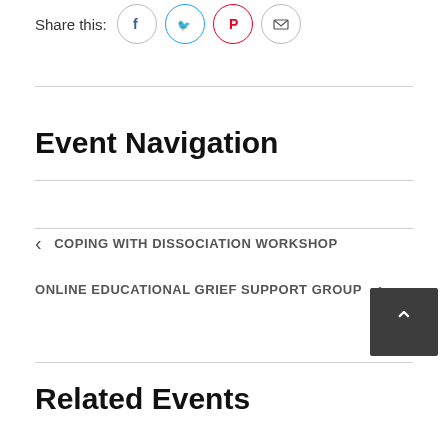Share this:
Event Navigation
< COPING WITH DISSOCIATION WORKSHOP
ONLINE EDUCATIONAL GRIEF SUPPORT GROUP >
Related Events